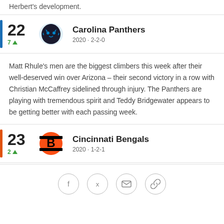Herbert's development.
22  Carolina Panthers  2020 · 2-2-0  7▲
Matt Rhule's men are the biggest climbers this week after their well-deserved win over Arizona – their second victory in a row with Christian McCaffrey sidelined through injury. The Panthers are playing with tremendous spirit and Teddy Bridgewater appears to be getting better with each passing week.
23  Cincinnati Bengals  2020 · 1-2-1  2▲